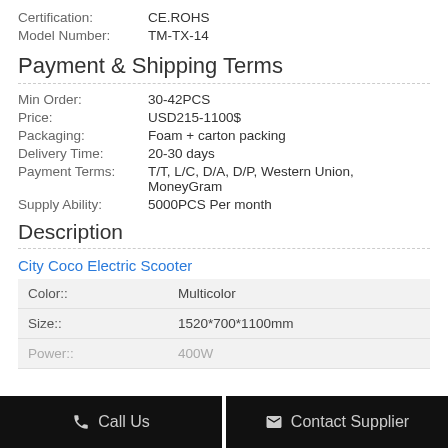Certification: CE.ROHS
Model Number: TM-TX-14
Payment & Shipping Terms
| Min Order: | 30-42PCS |
| Price: | USD215-1100$ |
| Packaging: | Foam + carton packing |
| Delivery Time: | 20-30 days |
| Payment Terms: | T/T, L/C, D/A, D/P, Western Union, MoneyGram |
| Supply Ability: | 5000PCS Per month |
Description
City Coco Electric Scooter
| Color:: | Multicolor |
| Size:: | 1520*700*1100mm |
| Power:: | 400W |
Call Us | Contact Supplier